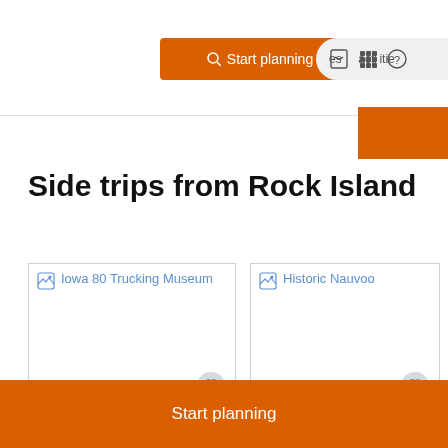Start planning   activities
Side trips from Rock Island
[Figure (screenshot): Broken image placeholder for Iowa 80 Trucking Museum with blue link text]
HISTORY MUSEUM
Iowa 80 Trucking
[Figure (screenshot): Broken image placeholder for Historic Nauvoo with blue link text]
HISTORIC SITE
Historic Nauvoo
Start planning